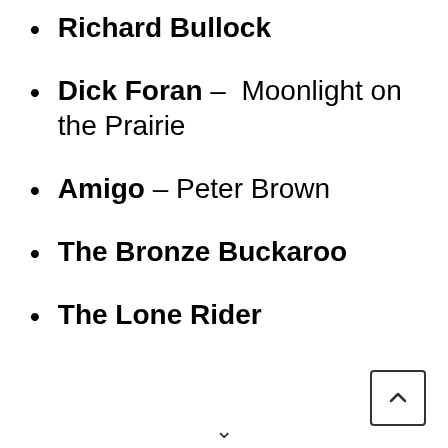Richard Bullock
Dick Foran – Moonlight on the Prairie
Amigo – Peter Brown
The Bronze Buckaroo
The Lone Rider